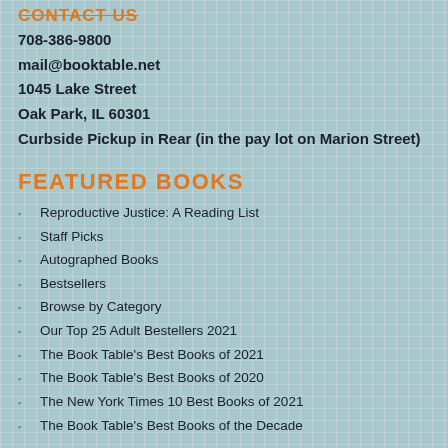CONTACT US
708-386-9800
mail@booktable.net
1045 Lake Street
Oak Park, IL 60301
Curbside Pickup in Rear (in the pay lot on Marion Street)
FEATURED BOOKS
Reproductive Justice: A Reading List
Staff Picks
Autographed Books
Bestsellers
Browse by Category
Our Top 25 Adult Bestellers 2021
The Book Table's Best Books of 2021
The Book Table's Best Books of 2020
The New York Times 10 Best Books of 2021
The Book Table's Best Books of the Decade